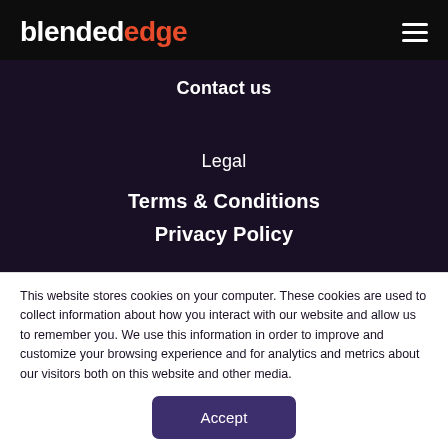blendededge
Contact us
Legal
Terms & Conditions
Privacy Policy
This website stores cookies on your computer. These cookies are used to collect information about how you interact with our website and allow us to remember you. We use this information in order to improve and customize your browsing experience and for analytics and metrics about our visitors both on this website and other media.
Accept